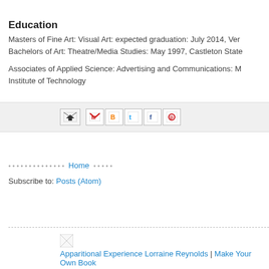Education
Masters of Fine Art: Visual Art: expected graduation: July 2014, Vermont College of Fine Arts
Bachelors of Art: Theatre/Media Studies: May 1997, Castleton State College

Associates of Applied Science: Advertising and Communications: NHTI Concord's Community College, New Hampshire Institute of Technology
[Figure (infographic): Social sharing toolbar with email forward icon, Gmail icon, Blogger icon, Twitter icon, Facebook icon, and Pinterest icon]
Home
Subscribe to: Posts (Atom)
Apparitional Experience Lorraine Reynolds  |  Make Your Own Book